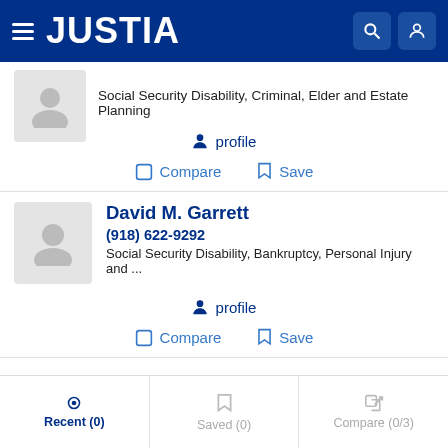JUSTIA
Social Security Disability, Criminal, Elder and Estate Planning
profile
Compare  Save
David M. Garrett
(918) 622-9292
Social Security Disability, Bankruptcy, Personal Injury and ...
profile
Compare  Save
Recent (0)  Saved (0)  Compare (0/3)